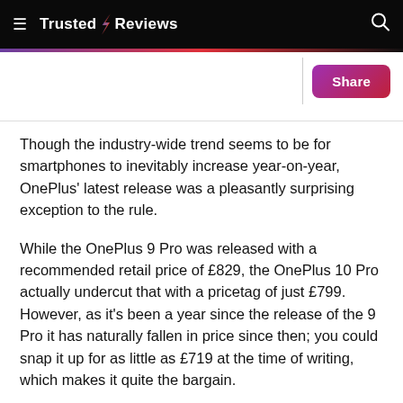Trusted Reviews
Though the industry-wide trend seems to be for smartphones to inevitably increase year-on-year, OnePlus' latest release was a pleasantly surprising exception to the rule.
While the OnePlus 9 Pro was released with a recommended retail price of £829, the OnePlus 10 Pro actually undercut that with a pricetag of just £799. However, as it's been a year since the release of the 9 Pro it has naturally fallen in price since then; you could snap it up for as little as £719 at the time of writing, which makes it quite the bargain.